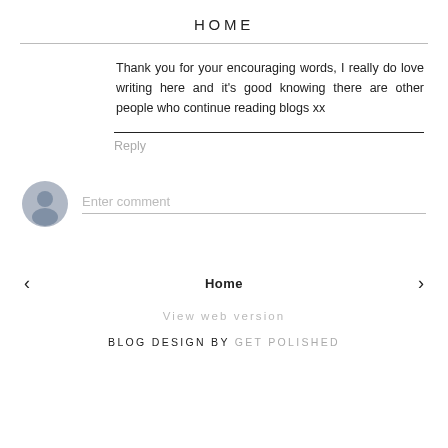HOME
Thank you for your encouraging words, I really do love writing here and it's good knowing there are other people who continue reading blogs xx
Reply
Enter comment
Home
View web version
BLOG DESIGN BY GET POLISHED